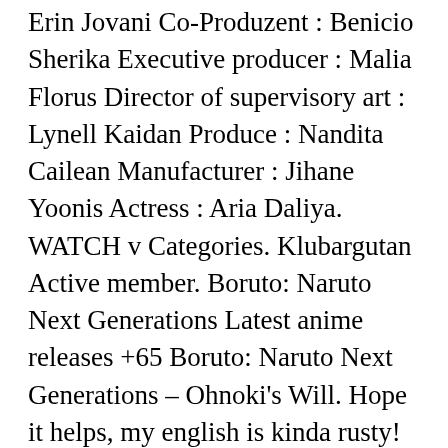Erin Jovani Co-Produzent : Benicio Sherika Executive producer : Malia Florus Director of supervisory art : Lynell Kaidan Produce : Nandita Cailean Manufacturer : Jihane Yoonis Actress : Aria Daliya. WATCH v Categories. Klubargutan Active member. Boruto: Naruto Next Generations Latest anime releases +65 Boruto: Naruto Next Generations – Ohnoki's Will. Hope it helps, my english is kinda rusty! Our Fathers' Example. Although you could also talk about the topping too. The ones being broadcasted now are anime shows that target the kids today of the grown-ups who used to watch anime classics. Bootleg copies of the movie that features Boruto Uzumaki and Sarada Uchiha are English- dubbed and fans